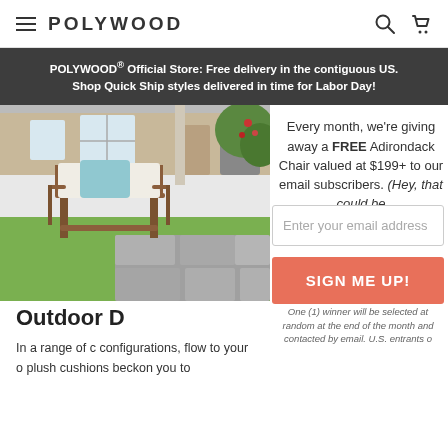POLYWOOD
POLYWOOD® Official Store: Free delivery in the contiguous US. Shop Quick Ship styles delivered in time for Labor Day!
[Figure (photo): Outdoor patio scene with a wooden armchair with white cushions and a blue pillow on a green lawn, with a house porch in the background]
Every month, we're giving away a FREE Adirondack Chair valued at $199+ to our email subscribers. (Hey, that could be
Enter your email address
SIGN ME UP!
One (1) winner will be selected at random at the end of the month and contacted by email. U.S. entrants o
Outdoor D
In a range of configurations, flow to your outdoor plush cushions beckon you to